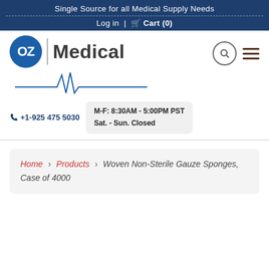Single Source for all Medical Supply Needs
Log in | Cart (0)
[Figure (logo): OZ Medical logo with ECG heartbeat line]
+1-925 475 5030
M-F: 8:30AM - 5:00PM PST
Sat. - Sun. Closed
Home > Products > Woven Non-Sterile Gauze Sponges, Case of 4000